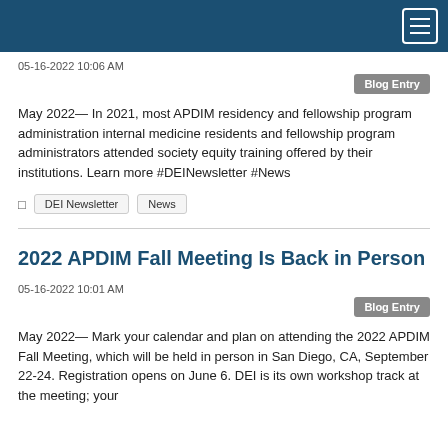05-16-2022 10:06 AM
Blog Entry
May 2022— In 2021, most APDIM residency and fellowship program administration internal medicine residents and fellowship program administrators attended society equity training offered by their institutions. Learn more #DEINewsletter #News
DEI Newsletter
News
2022 APDIM Fall Meeting Is Back in Person
05-16-2022 10:01 AM
Blog Entry
May 2022— Mark your calendar and plan on attending the 2022 APDIM Fall Meeting, which will be held in person in San Diego, CA, September 22-24. Registration opens on June 6. DEI is its own workshop track at the meeting; your